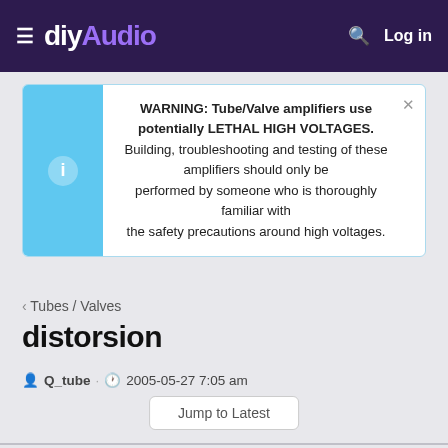diyAudio — Log in
WARNING: Tube/Valve amplifiers use potentially LETHAL HIGH VOLTAGES. Building, troubleshooting and testing of these amplifiers should only be performed by someone who is thoroughly familiar with the safety precautions around high voltages.
< Tubes / Valves
distorsion
Q_tube · 2005-05-27 7:05 am
Jump to Latest
Q_tube
Member
#1
2005-05-27 7:05 am